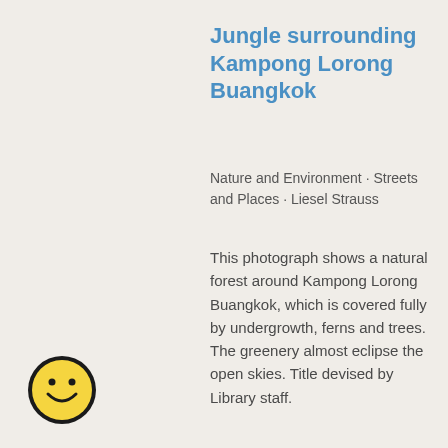Jungle surrounding Kampong Lorong Buangkok
Nature and Environment · Streets and Places · Liesel Strauss
This photograph shows a natural forest around Kampong Lorong Buangkok, which is covered fully by undergrowth, ferns and trees. The greenery almost eclipse the open skies. Title devised by Library staff.
[Figure (illustration): Yellow smiley face emoji with black border on light background]